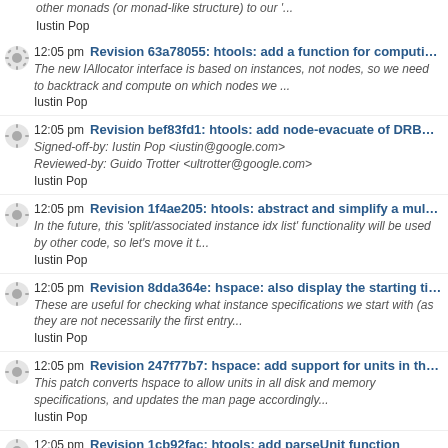other monads (or monad-like structure) to our '...
Iustin Pop
12:05 pm Revision 63a78055: htools: add a function for computing evacua... The new IAllocator interface is based on instances, not nodes, so we need to backtrack and compute on which nodes we ... Iustin Pop
12:05 pm Revision bef83fd1: htools: add node-evacuate of DRBD8 primar... Signed-off-by: Iustin Pop <iustin@google.com> Reviewed-by: Guido Trotter <ultrotter@google.com> Iustin Pop
12:05 pm Revision 1f4ae205: htools: abstract and simplify a multigroup fu... In the future, this 'split/associated instance idx list' functionality will be used by other code, so let's move it t... Iustin Pop
12:05 pm Revision 8dda364e: hspace: also display the starting tiered spec... These are useful for checking what instance specifications we start with (as they are not necessarily the first entry... Iustin Pop
12:05 pm Revision 247f77b7: hspace: add support for units in the options... This patch converts hspace to allow units in all disk and memory specifications, and updates the man page accordingly... Iustin Pop
12:05 pm Revision 1cb92fac: htools: add parseUnit function This is similar, but not identical, to Utils.ParseUnit. The biggest difference is that we don't round up/down; as we ... Iustin Pop
12:05 pm ganeti-local - Revision 1cb92fac: htools: add parseUnit function